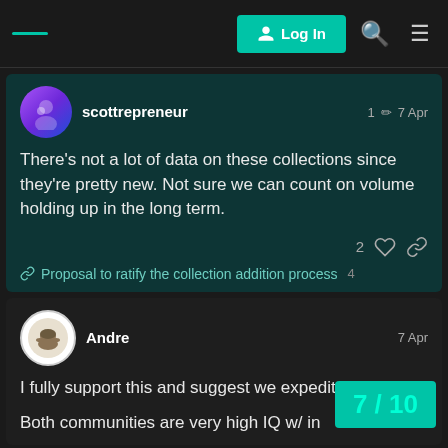Log In
scottrepreneur  1 ✏  7 Apr
There's not a lot of data on these collections since they're pretty new. Not sure we can count on volume holding up in the long term.
2 ♡ 🔗
🔗 Proposal to ratify the collection addition process  4
Andre  7 Apr
I fully support this and suggest we expedite it.
Both communities are very high IQ w/ in
7 / 10